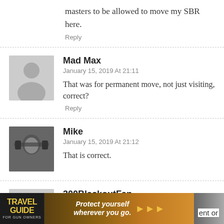masters to be allowed to move my SBR here.
Reply
Mad Max
January 15, 2019 At 21:11
That was for permanent move, not just visiting, correct?
Reply
Mike
January 15, 2019 At 21:12
That is correct.
300BlackoutFan
January 16, 2019 At 07:44
[Figure (other): Travel Guide for Gun Owners advertisement banner with text: Protect yourself wherever you go.]
ent or